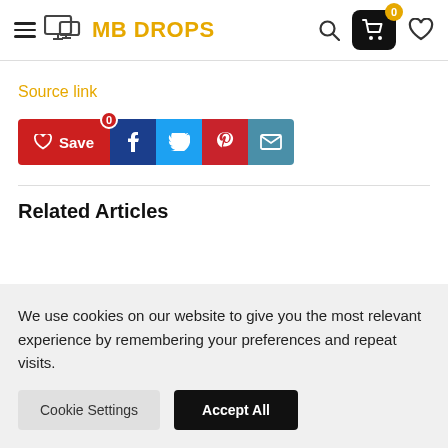MB DROPS
Source link
[Figure (other): Social sharing buttons: Save (red with heart icon, badge 0), Facebook (dark blue), Twitter (light blue), Pinterest (red), Email (teal)]
Related Articles
We use cookies on our website to give you the most relevant experience by remembering your preferences and repeat visits.
Cookie Settings | Accept All